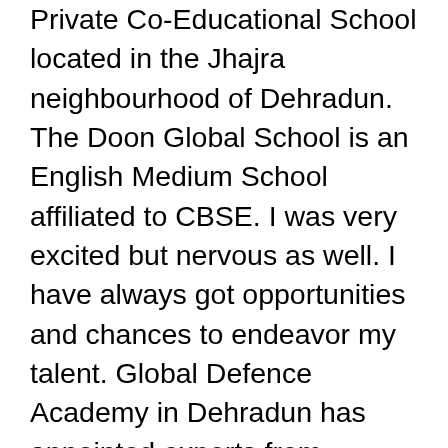Private Co-Educational School located in the Jhajra neighbourhood of Dehradun. The Doon Global School is an English Medium School affiliated to CBSE. I was very excited but nervous as well. I have always got opportunities and chances to endeavor my talent. Global Defence Academy in Dehradun has appointed experts from different fields for the aspirants to enhance their level. Ranked No. Also know about Doon International School Dehradun fee structure, address, phone number, application process, application cost, facilities etc. Doon Global School located in Nadwan.P.O.-Nadwan Patna, is a Co-Educational Senior Secondary institution affiliated to the Central Board of Secondary Education (CBSE) on Provisional